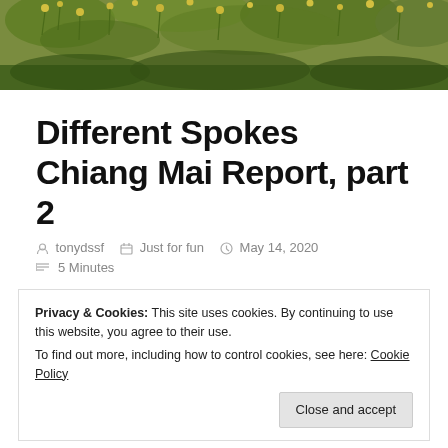[Figure (photo): Hero image of yellow wildflowers and green foliage]
Different Spokes Chiang Mai Report, part 2
tonydssf  Just for fun  May 14, 2020  5 Minutes
Privacy & Cookies: This site uses cookies. By continuing to use this website, you agree to their use.
To find out more, including how to control cookies, see here: Cookie Policy
Close and accept
[Figure (photo): Bottom photo strip showing people and green/colorful elements]